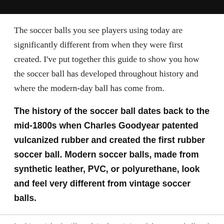The soccer balls you see players using today are significantly different from when they were first created. I've put together this guide to show you how the soccer ball has developed throughout history and where the modern-day ball has come from.
The history of the soccer ball dates back to the mid-1800s when Charles Goodyear patented vulcanized rubber and created the first rubber soccer ball. Modern soccer balls, made from synthetic leather, PVC, or polyurethane, look and feel very different from vintage soccer balls.
In this article, I will explain the origins of the soccer ball and how the characteristics of soccer balls have changed